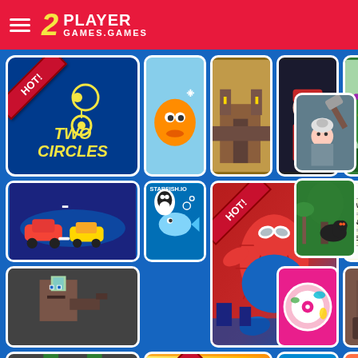2Player Games.Games - navigation header
[Figure (screenshot): Game website screenshot showing 2PlayerGames.Games with a red header containing hamburger menu and logo, blue background with game tiles grid including Two Circles (featured), Spider-Man, and many other game thumbnails with HOT! badges]
TWO CIRCLES
HOT!